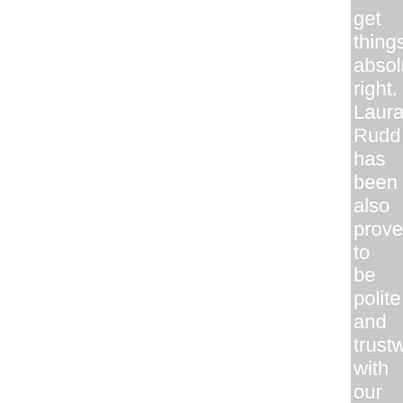get things absolutely right. Laura Rudd has been also proven to be polite and trustworthy with our clients, which